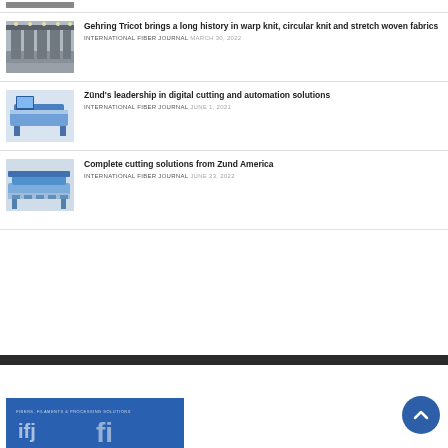[Figure (photo): Partial top image of textile/fabric machinery (cropped)]
Gehring Tricot brings a long history in warp knit, circular knit and stretch woven fabrics
INTERNATIONAL FIBER JOURNAL MARCH 30, 2022
[Figure (photo): Industrial digital cutting machine by Zünd]
Zünd's leadership in digital cutting and automation solutions
INTERNATIONAL FIBER JOURNAL JUNE 1, 2021
[Figure (photo): Complete cutting solutions machine from Zund America]
Complete cutting solutions from Zund America
INTERNATIONAL FIBER JOURNAL JUNE 23, 2022
[Figure (logo): International Fiber Journal logo on blue background]